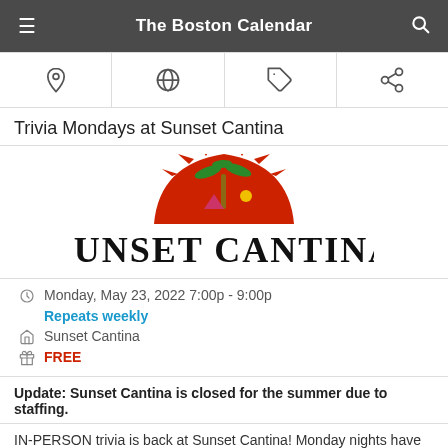The Boston Calendar
[Figure (other): Navigation icon bar with four icons: location pin, globe, tag, share]
Trivia Mondays at Sunset Cantina
[Figure (logo): Sunset Cantina logo: red sun with palm tree and mountains, with text SUNSET CANTINA in large black serif font]
Monday, May 23, 2022 7:00p - 9:00p
Repeats weekly
Sunset Cantina
FREE
Update: Sunset Cantina is closed for the summer due to staffing.
IN-PERSON trivia is back at Sunset Cantina! Monday nights have